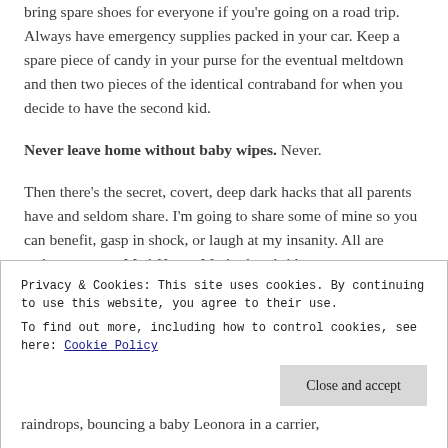bring spare shoes for everyone if you're going on a road trip. Always have emergency supplies packed in your car. Keep a spare piece of candy in your purse for the eventual meltdown and then two pieces of the identical contraband for when you decide to have the second kid.
Never leave home without baby wipes. Never.
Then there's the secret, covert, deep dark hacks that all parents have and seldom share. I'm going to share some of mine so you can benefit, gasp in shock, or laugh at my insanity. All are welcome to my Mad-Hatter-Motherhood ride.
Privacy & Cookies: This site uses cookies. By continuing to use this website, you agree to their use.
To find out more, including how to control cookies, see here: Cookie Policy
raindrops, bouncing a baby Leonora in a carrier,